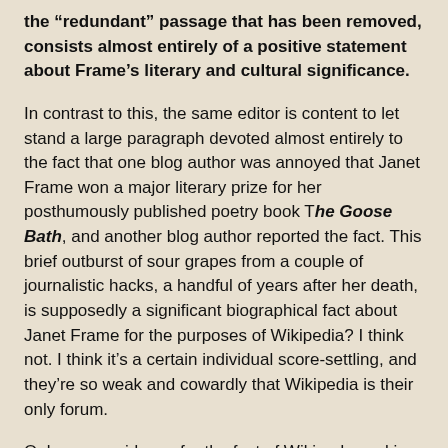the "redundant" passage that has been removed, consists almost entirely of a positive statement about Frame's literary and cultural significance.
In contrast to this, the same editor is content to let stand a large paragraph devoted almost entirely to the fact that one blog author was annoyed that Janet Frame won a major literary prize for her posthumously published poetry book The Goose Bath, and another blog author reported the fact. This brief outburst of sour grapes from a couple of journalistic hacks, a handful of years after her death, is supposedly a significant biographical fact about Janet Frame for the purposes of Wikipedia? I think not. I think it's a certain individual score-settling, and they're so weak and cowardly that Wikipedia is their only forum.
Only more evidence for the fact of Wikipeda sucking, big time...
Now it's more than two and a half years since I tried to change anything on Wikipedia myself. Apparently I was too much of an expert to be trusted with editing an encyclopedia